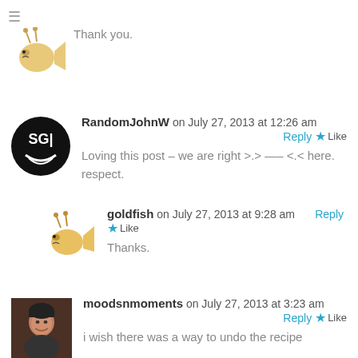[Figure (illustration): Goldfish cartoon avatar at top with hamburger menu icon, with comment text 'Thank you.']
Thank you.
[Figure (illustration): Black circular avatar with SG1 logo for RandomJohnW]
RandomJohnW on July 27, 2013 at 12:26 am    Reply  Like
Loving this post – we are right >.> —– <.< here. respect.
[Figure (illustration): Goldfish cartoon avatar for goldfish commenter]
goldfish on July 27, 2013 at 9:28 am    Reply  Like
Thanks.
[Figure (photo): Photo avatar of a woman smiling for moodsnmoments]
moodsnmoments on July 27, 2013 at 3:23 am    Reply  Like
i wish there was a way to undo the recipe